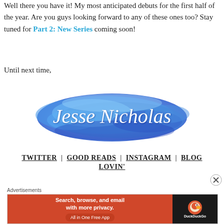Well there you have it! My most anticipated debuts for the first half of the year. Are you guys looking forward to any of these ones too? Stay tuned for Part 2: New Series coming soon!
Until next time,
[Figure (illustration): Blue watercolor brush stroke with white cursive text 'Jesse Nicholas' signature]
TWITTER | GOOD READS | INSTAGRAM | BLOG LOVIN'
Advertisements
[Figure (screenshot): DuckDuckGo advertisement banner: orange background with text 'Search, browse, and email with more privacy. All in One Free App' and DuckDuckGo logo on dark background]